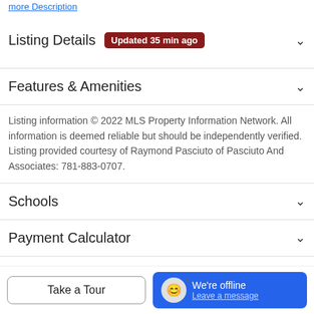more Description
Listing Details   Updated 35 min ago
Features & Amenities
Listing information © 2022 MLS Property Information Network. All information is deemed reliable but should be independently verified. Listing provided courtesy of Raymond Pasciuto of Pasciuto And Associates: 781-883-0707.
Schools
Payment Calculator
Contact Agent
Take a Tour
We're offline
Leave a message